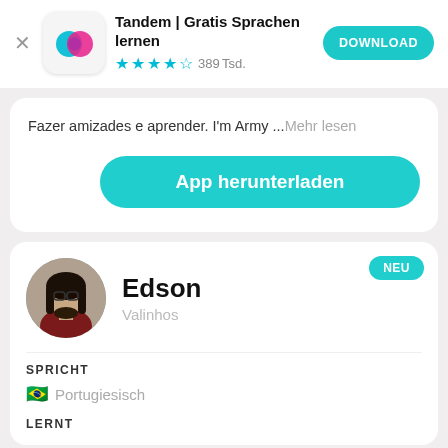[Figure (screenshot): Tandem app icon with teal and pink overlapping speech bubbles on a white rounded square background]
Tandem | Gratis Sprachen lernen
★★★★☆ 389Tsd.
DOWNLOAD
Fazer amizades e aprender. I'm Army ...Mehr lesen
App herunterladen
NEU
[Figure (photo): Circular profile photo of Edson, a young man with long dark hair and beard, wearing a dark red shirt]
Edson
Valinhos
SPRICHT
🇧🇷 Portugiesisch
LERNT